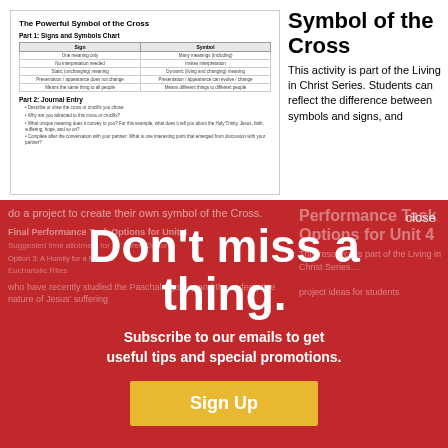[Figure (screenshot): Preview of a worksheet titled 'The Powerful Symbol of the Cross' showing Part 1: Signs and Symbols Chart (a table with Sign and Symbol columns) and Part 2: Journal Entry with bullet-point questions.]
Symbol of the Cross
This activity is part of the Living in Christ Series. Students can reflect the difference between symbols and signs, and
do a project to create their own symbol of the Cross.
close
Don't miss a thing.
Subscribe to our emails to get useful tips and special promotions.
Sign Up